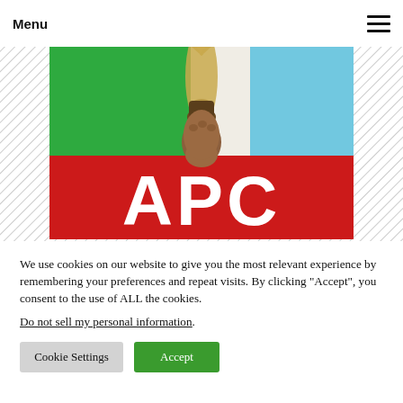Menu
[Figure (logo): APC (All Progressives Congress) party logo: a green, white, and light-blue flag with a hand holding a broom in the center, and a red banner at the bottom with white text 'APC']
We use cookies on our website to give you the most relevant experience by remembering your preferences and repeat visits. By clicking "Accept", you consent to the use of ALL the cookies.
Do not sell my personal information.
Cookie Settings  Accept